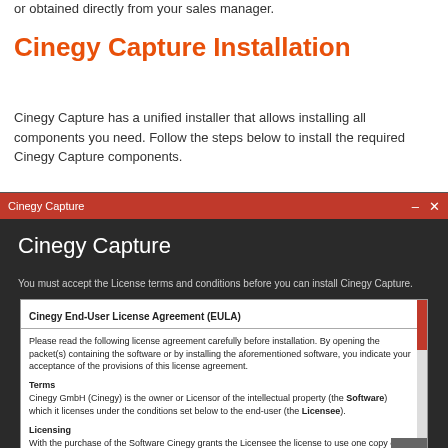or obtained directly from your sales manager.
Cinegy Capture Installation
Cinegy Capture has a unified installer that allows installing all components you need. Follow the steps below to install the required Cinegy Capture components.
[Figure (screenshot): Screenshot of the Cinegy Capture installer window showing the End-User License Agreement (EULA) dialog. The window has a red title bar labeled 'Cinegy Capture' with minimize and close buttons. The dark body shows 'Cinegy Capture' as large title text, a prompt to accept license terms, and a white EULA text box containing the Cinegy End-User License Agreement with sections on Terms and Licensing. A red scrollbar is visible on the right side of the EULA box, and a dark scroll button with an up arrow is at the bottom right.]